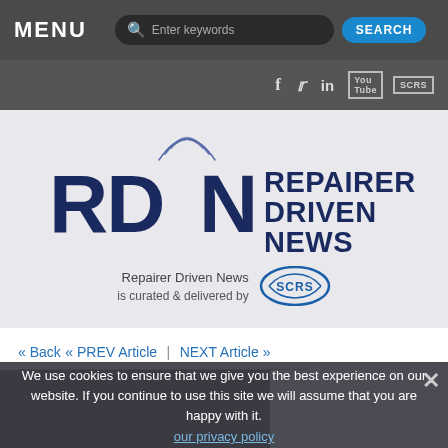MENU
[Figure (logo): RDN Repairer Driven News logo with SCRS branding and tagline 'Repairer Driven News is curated & delivered by SCRS']
« Back « PREV Article | NEXT Article »
We use cookies to ensure that we give you the best experience on our website. If you continue to use this site we will assume that you are happy with it.
our privacy policy